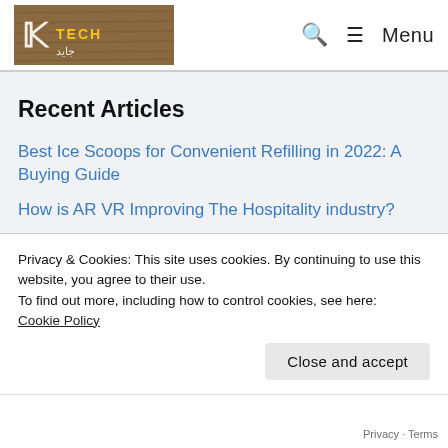Tech [logo] | Search | ≡ Menu
Recent Articles
Best Ice Scoops for Convenient Refilling in 2022: A Buying Guide
How is AR VR Improving The Hospitality industry?
Why You Must Invest In Outsourcing Data
Privacy & Cookies: This site uses cookies. By continuing to use this website, you agree to their use.
To find out more, including how to control cookies, see here:
Cookie Policy
Close and accept
System How To Fix?
Apple celebrates America's Parks with
Privacy · Terms